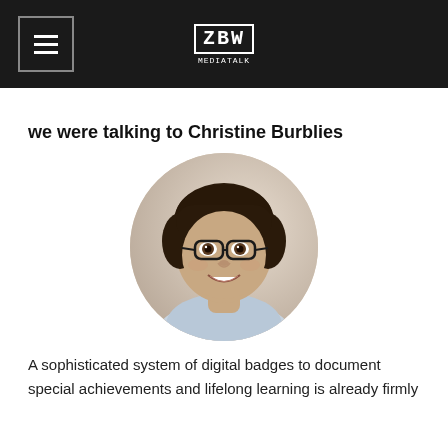ZBW MEDIATALK
we were talking to Christine Burblies
[Figure (photo): Circular portrait photo of Christine Burblies, a woman with short dark hair wearing glasses and a light blue shirt, smiling]
A sophisticated system of digital badges to document special achievements and lifelong learning is already firmly